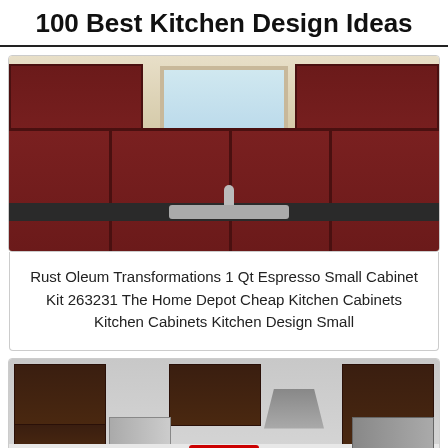100 Best Kitchen Design Ideas
[Figure (photo): Photo of a kitchen with dark cherry-red lower cabinets, black countertop, stainless steel sink with faucet, upper cabinets on the left and right sides, and a window in the center. A coffee maker is on the left and wine glasses on the right.]
Rust Oleum Transformations 1 Qt Espresso Small Cabinet Kit 263231 The Home Depot Cheap Kitchen Cabinets Kitchen Cabinets Kitchen Design Small
[Figure (photo): Photo of a modern kitchen with dark espresso brown cabinets, stainless steel refrigerator, range hood, white subway tile backsplash, stainless steel oven, and a close button overlay at the bottom center.]